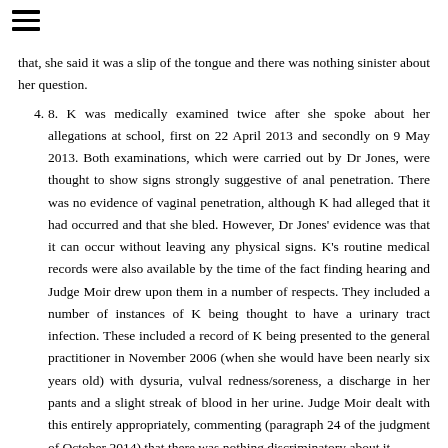≡
that, she said it was a slip of the tongue and there was nothing sinister about her question.
4. 8. K was medically examined twice after she spoke about her allegations at school, first on 22 April 2013 and secondly on 9 May 2013. Both examinations, which were carried out by Dr Jones, were thought to show signs strongly suggestive of anal penetration. There was no evidence of vaginal penetration, although K had alleged that it had occurred and that she bled. However, Dr Jones' evidence was that it can occur without leaving any physical signs. K's routine medical records were also available by the time of the fact finding hearing and Judge Moir drew upon them in a number of respects. They included a number of instances of K being thought to have a urinary tract infection. These included a record of K being presented to the general practitioner in November 2006 (when she would have been nearly six years old) with dysuria, vulval redness/soreness, a discharge in her pants and a slight streak of blood in her urine. Judge Moir dealt with this entirely appropriately, commenting (paragraph 24 of the judgment of October 2014) that there was nothing discriminatory about it...